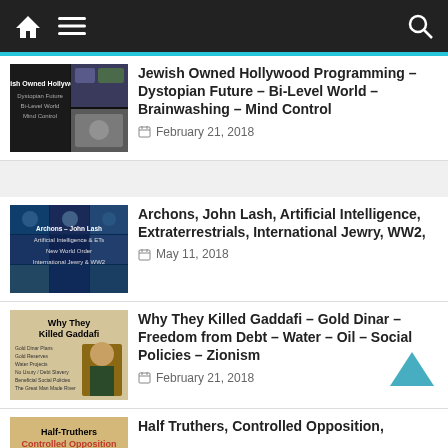Navigation bar with home, menu, and search icons
[Figure (screenshot): Thumbnail for Jewish Owned Hollywood article showing dark film stills and text overlay]
Jewish Owned Hollywood Programming – Dystopian Future – Bi-Level World – Brainwashing – Mind Control
February 21, 2018
[Figure (screenshot): Thumbnail for Archons article showing blue-tinted sci-fi imagery collage]
Archons, John Lash, Artificial Intelligence, Extraterrestrials, International Jewry, WW2,
May 11, 2018
[Figure (screenshot): Thumbnail for Why They Killed Gaddafi article showing tan background with Gaddafi photo]
Why They Killed Gaddafi – Gold Dinar – Freedom from Debt – Water – Oil – Social Policies – Zionism
February 21, 2018
[Figure (screenshot): Thumbnail for Half Truthers Controlled Opposition article]
Half Truthers, Controlled Opposition,